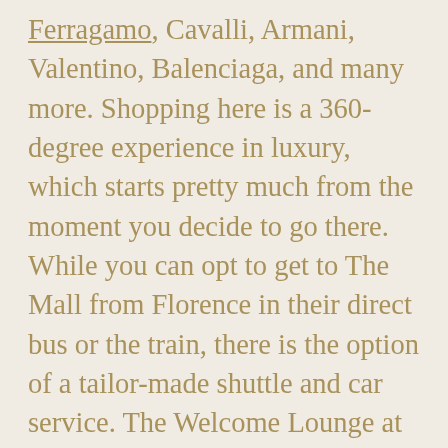Ferragamo, Cavalli, Armani, Valentino, Balenciaga, and many more. Shopping here is a 360-degree experience in luxury, which starts pretty much from the moment you decide to go there. While you can opt to get to The Mall from Florence in their direct bus or the train, there is the option of a tailor-made shuttle and car service. The Welcome Lounge at the premises helps you with queries or requirements that you may have, an experience that can be further enhanced with the help of personal shoppers who assist you on your shopping sojourn.